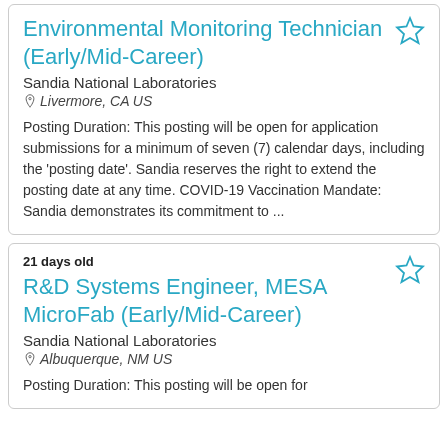Environmental Monitoring Technician (Early/Mid-Career)
Sandia National Laboratories
Livermore, CA US
Posting Duration: This posting will be open for application submissions for a minimum of seven (7) calendar days, including the 'posting date'. Sandia reserves the right to extend the posting date at any time. COVID-19 Vaccination Mandate: Sandia demonstrates its commitment to ...
21 days old
R&D Systems Engineer, MESA MicroFab (Early/Mid-Career)
Sandia National Laboratories
Albuquerque, NM US
Posting Duration: This posting will be open for